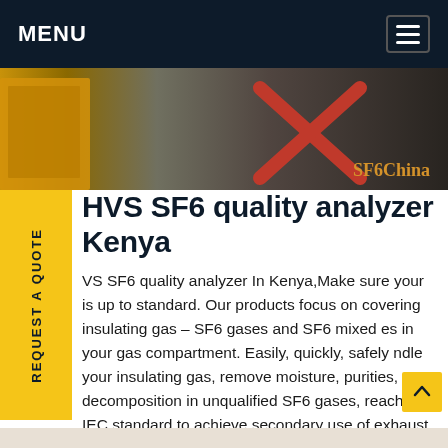MENU
[Figure (photo): Industrial SF6 gas equipment with yellow and red components, branded SF6China]
HVS SF6 quality analyzer Kenya
HVS SF6 quality analyzer In Kenya,Make sure your is up to standard. Our products focus on covering insulating gas – SF6 gases and SF6 mixed es in your gas compartment. Easily, quickly, safely ndle your insulating gas, remove moisture, purities, decomposition in unqualified SF6 gases, reach the IEC standard to achieve secondary use of exhaust gas.Get price